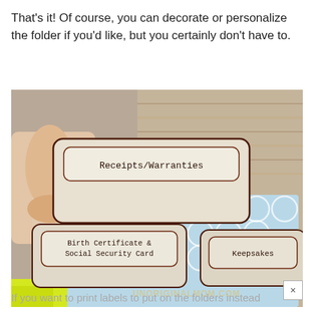That's it! Of course, you can decorate or personalize the folder if you'd like, but you certainly don't have to.
[Figure (photo): A hand holding a file folder tab labeled 'Receipts/Warranties' above other folders labeled 'Birth Certificate & Social Security Card' and 'Keepsakes', all with light blue patterned folder bodies, sitting in a woven basket. Watermark reads UNORIGINALMOM.COM]
If you want to print labels to put on the folders instead